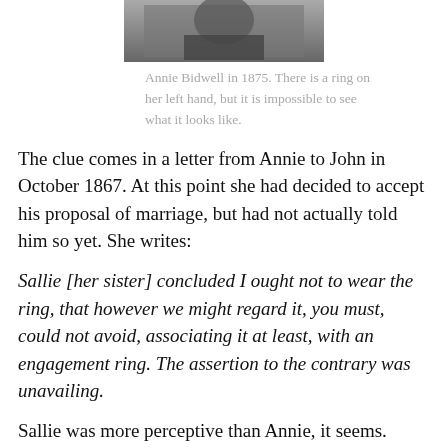[Figure (photo): Black and white photograph of Annie Bidwell in 1875, partial view showing upper portion of image]
Annie Bidwell in 1875. There is a ring on her left hand, but it is impossible to see what it looks like.
The clue comes in a letter from Annie to John in October 1867. At this point she had decided to accept his proposal of marriage, but had not actually told him so yet. She writes:
Sallie [her sister] concluded I ought not to wear the ring, that however we might regard it, you must, could not avoid, associating it at least, with an engagement ring. The assertion to the contrary was unavailing.
Sallie was more perceptive than Annie, it seems.